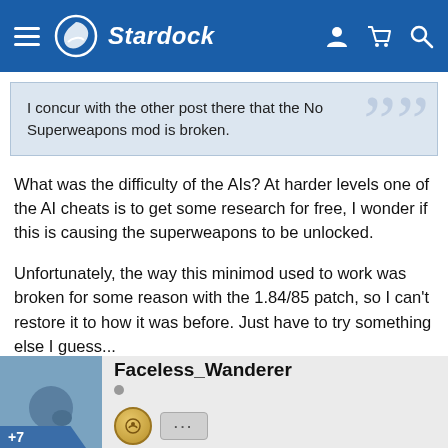Stardock
I concur with the other post there that the No Superweapons mod is broken.
What was the difficulty of the AIs? At harder levels one of the AI cheats is to get some research for free, I wonder if this is causing the superweapons to be unlocked.
Unfortunately, the way this minimod used to work was broken for some reason with the 1.84/85 patch, so I can't restore it to how it was before. Just have to try something else I guess...
Faceless_Wanderer